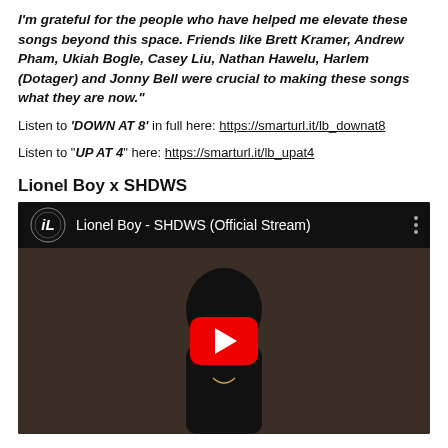I'm grateful for the people who have helped me elevate these songs beyond this space. Friends like Brett Kramer, Andrew Pham, Ukiah Bogle, Casey Liu, Nathan Hawelu, Harlem (Dotager) and Jonny Bell were crucial to making these songs what they are now."
Listen to 'DOWN AT 8' in full here: https://smarturl.it/lb_downat8
Listen to "UP AT 4" here: https://smarturl.it/lb_upat4
Lionel Boy x SHDWS
[Figure (screenshot): YouTube video embed showing 'Lionel Boy - SHDWS (Official Stream)' with a dark background silhouette of a person from behind, a red YouTube play button in the center, and a black top bar with the Lionel Boy logo and video title.]